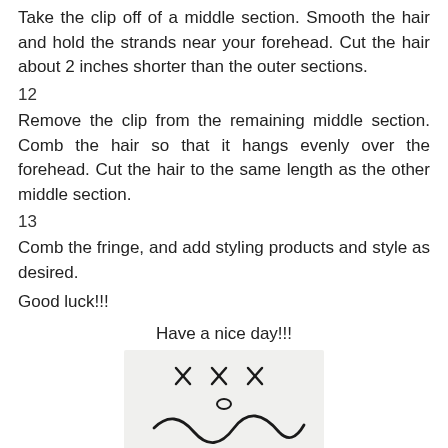Take the clip off of a middle section. Smooth the hair and hold the strands near your forehead. Cut the hair about 2 inches shorter than the outer sections.
12
Remove the clip from the remaining middle section. Comb the hair so that it hangs evenly over the forehead. Cut the hair to the same length as the other middle section.
13
Comb the fringe, and add styling products and style as desired.
Good luck!!!
Have a nice day!!!
[Figure (illustration): A hand-drawn doodle showing x x x marks above a wavy face shape with a small oval nose, resembling a simple cartoon face or character.]